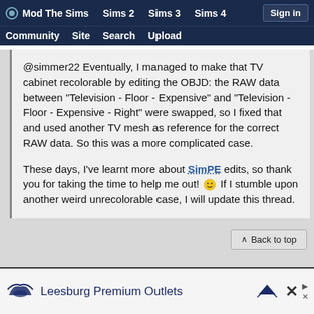Mod The Sims  Sims 2  Sims 3  Sims 4  Sign in  Community  Site  Search  Upload
@simmer22 Eventually, I managed to make that TV cabinet recolorable by editing the OBJD: the RAW data between "Television - Floor - Expensive" and "Television - Floor - Expensive - Right" were swapped, so I fixed that and used another TV mesh as reference for the correct RAW data. So this was a more complicated case.

These days, I've learnt more about SimPE edits, so thank you for taking the time to help me out! 🙂 If I stumble upon another weird unrecolorable case, I will update this thread.
^ Back to top
[Figure (other): Advertisement banner for Leesburg Premium Outlets with logo and close button]